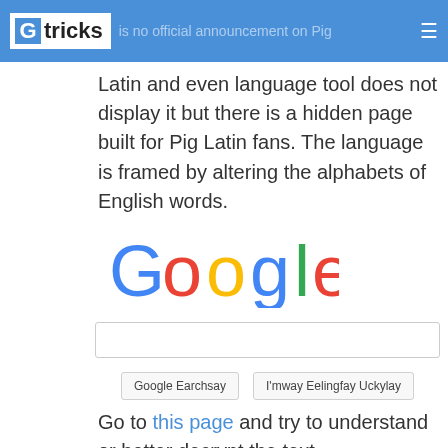G tricks — is no official announcement on Pig ☰
Latin and even language tool does not display it but there is a hidden page built for Pig Latin fans. The language is framed by altering the alphabets of English words.
[Figure (logo): Google logo in multicolor letters]
[Figure (screenshot): Google search box with buttons: Google Earchsay and I'mway Eelingfay Uckylay]
Go to this page and try to understand or better decrypt the text.